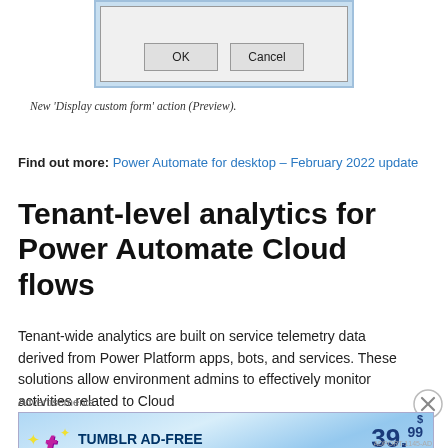[Figure (screenshot): A dialog box with OK and Cancel buttons, shown with a blue border/title bar area at the top of the page.]
New 'Display custom form' action (Preview).
Find out more: Power Automate for desktop – February 2022 update
Tenant-level analytics for Power Automate Cloud flows
Tenant-wide analytics are built on service telemetry data derived from Power Platform apps, bots, and services. These solutions allow environment admins to effectively monitor activities related to Cloud
[Figure (screenshot): Advertisement banner: Tumblr Ad-Free Browsing $39.99 a year or $4.99 a month]